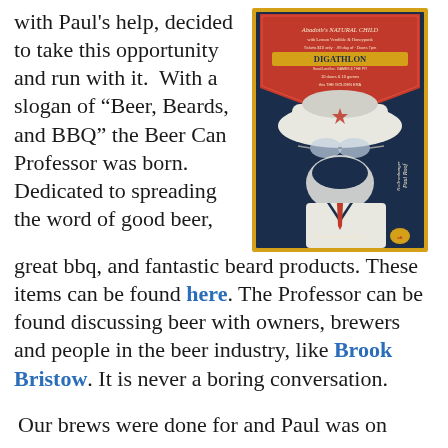with Paul's help, decided to take this opportunity and run with it. With a slogan of “Beer, Beards, and BBQ” the Beer Can Professor was born. Dedicated to spreading the word of good beer, great bbq, and fantastic beard products. These items can be found here. The Professor can be found discussing beer with owners, brewers and people in the beer industry, like Brook Bristow. It is never a boring conversation.
[Figure (illustration): Event poster for Digathlon featuring a stylized illustration of a bearded man wearing a large cowboy hat with a star, sunglasses, and a suit. The poster has a dark blue background with a red inverted triangle at the top containing text about 'Abadoth's Natural Child with Lemon Vendible & Honeypunk', 'DIGATHLON', '10 doors & 10 games', 'Free Admission', and 'Register at digxroth.com'. The name 'No/Ironhanger Paul Roof' appears on the right side. A yellow border frames the entire poster.]
Our brews were done for and Paul was on